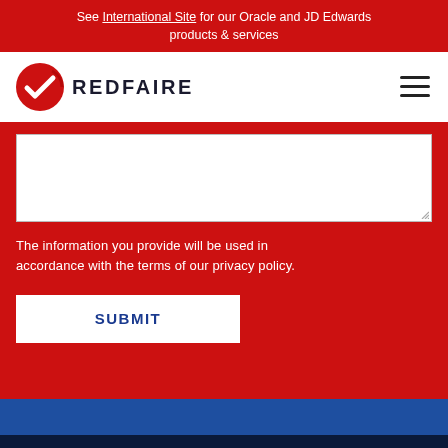See International Site for our Oracle and JD Edwards products & services
[Figure (logo): Redfaire logo with red circular checkmark icon and REDFAIRE text in dark navy]
[Figure (other): Hamburger menu icon with three horizontal lines]
[Figure (other): White textarea input box for user message entry]
The information you provide will be used in accordance with the terms of our privacy policy.
SUBMIT